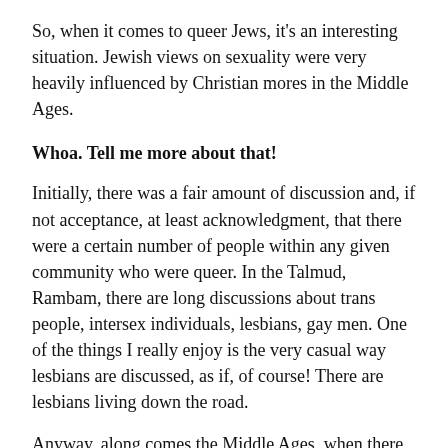So, when it comes to queer Jews, it's an interesting situation. Jewish views on sexuality were very heavily influenced by Christian mores in the Middle Ages.
Whoa. Tell me more about that!
Initially, there was a fair amount of discussion and, if not acceptance, at least acknowledgment, that there were a certain number of people within any given community who were queer. In the Talmud, Rambam, there are long discussions about trans people, intersex individuals, lesbians, gay men. One of the things I really enjoy is the very casual way lesbians are discussed, as if, of course! There are lesbians living down the road.
Anyway, along comes the Middle Ages, when there was a very intense attitude in the Church about sexuality and homosexuality in particular. Some of that attitude seeped through the ghetto walls. At that time, the conversation about queer people really disappears from Rabbinic